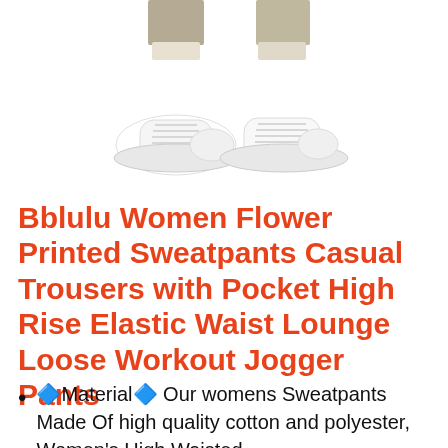[Figure (photo): Two product photos showing white sneakers worn with sweatpants, cropped to show legs and feet only, side by side.]
Bblulu Women Flower Printed Sweatpants Casual Trousers with Pocket High Rise Elastic Waist Lounge Loose Workout Jogger Pants
🔷Material🔷 Our womens Sweatpants Made Of high quality cotton and polyester, Women's High Waisted